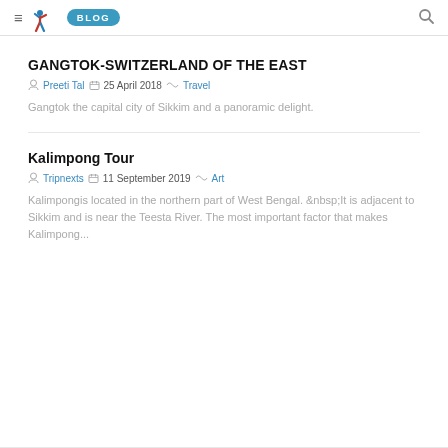≡ [logo] BLOG [search]
GANGTOK-SWITZERLAND OF THE EAST
Preeti Tal  25 April 2018  Travel
Gangtok the capital city of Sikkim and a panoramic delight.
Kalimpong Tour
Tripnexts  11 September 2019  Art
Kalimpongis located in the northern part of West Bengal. &nbsp;It is adjacent to Sikkim and is near the Teesta River. The most important factor that makes Kalimpong...